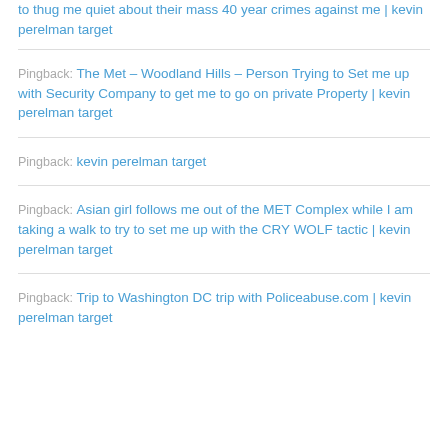to thug me quiet about their mass 40 year crimes against me | kevin perelman target
Pingback: The Met – Woodland Hills – Person Trying to Set me up with Security Company to get me to go on private Property | kevin perelman target
Pingback: kevin perelman target
Pingback: Asian girl follows me out of the MET Complex while I am taking a walk to try to set me up with the CRY WOLF tactic | kevin perelman target
Pingback: Trip to Washington DC trip with Policeabuse.com | kevin perelman target